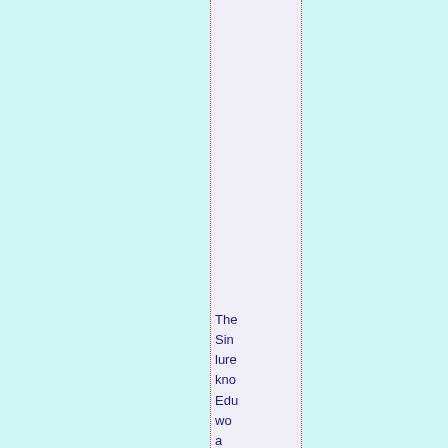The Sin- lure kno Edu wo a dan to So